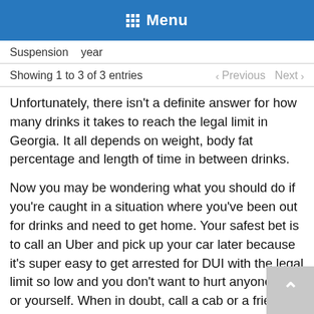Menu
Suspension   year
Showing 1 to 3 of 3 entries    ‹ Previous   Next ›
Unfortunately, there isn't a definite answer for how many drinks it takes to reach the legal limit in Georgia. It all depends on weight, body fat percentage and length of time in between drinks.
Now you may be wondering what you should do if you're caught in a situation where you've been out for drinks and need to get home. Your safest bet is to call an Uber and pick up your car later because it's super easy to get arrested for DUI with the legal limit so low and you don't want to hurt anyone else or yourself. When in doubt, call a cab or a friend to come get you. You'll be happy you did.